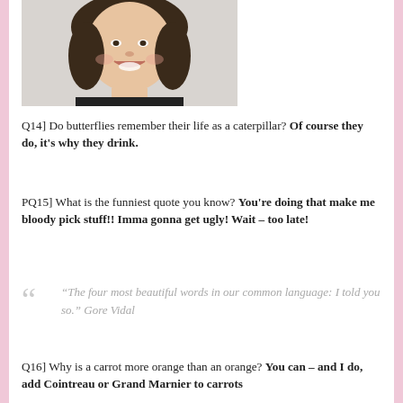[Figure (photo): Headshot photo of a smiling woman with dark shoulder-length hair wearing a dark top, cropped at the shoulders]
Q14] Do butterflies remember their life as a caterpillar? Of course they do, it's why they drink.
PQ15] What is the funniest quote you know? You're doing that make me bloody pick stuff!! Imma gonna get ugly! Wait – too late!
“The four most beautiful words in our common language: I told you so.” Gore Vidal
Q16] Why is a carrot more orange than an orange? You can – and I do, add Cointreau or Grand Marnier to carrots